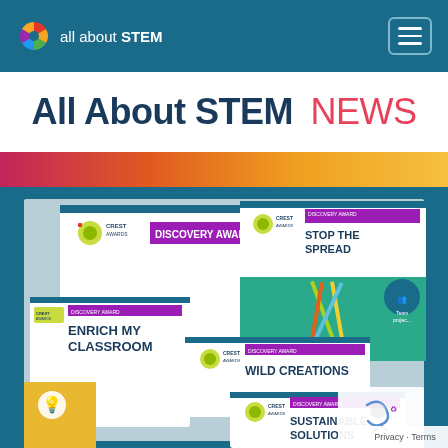all about STEM
All About STEM NEWS
[Figure (screenshot): Collection of CREST Awards Discovery Award booklets/cards displayed overlapping each other. Titles visible: 'Discovery Award', 'Stop the Spread', 'Enrich My Classroom', 'Wild Creations', 'Sustainable Solutions'. Cards feature purple/magenta header bars with CREST Awards logo (green and yellow emblem). Background is teal/dark blue.]
Privacy · Terms